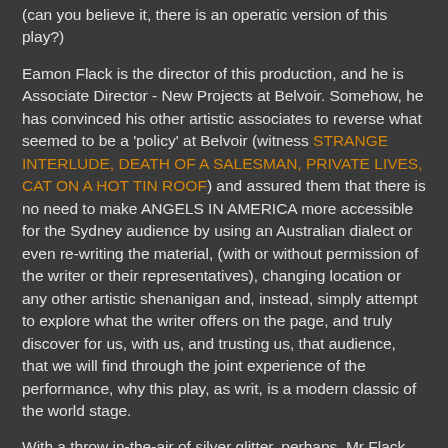(can you believe it, there is an operatic version of this play?)
Eamon Flack is the director of this production, and he is Associate Director - New Projects at Belvoir. Somehow, he has convinced his other artistic associates to reverse what seemed to be a 'policy' at Belvoir (witness STRANGE INTERLUDE, DEATH OF A SALESMAN, PRIVATE LIVES, CAT ON A HOT TIN ROOF) and assured them that there is no need to make ANGELS IN AMERICA more accessible for the Sydney audience by using an Australian dialect or even re-writing the material, (with or without permission of the writer or their representatives), changing location or any other artistic shenanigan and, instead, simply attempt to explore what the writer offers on the page, and truly discover for us, with us, and trusting us, that audience, that we will find through the joint experience of the performance, why this play, as writ, is a modern classic of the world stage.
With a throw in-the-air of silver glitter, perhaps, Mr Flack has ventured where the Belvoir has not ventured for some time with its choices of titles from the classic canon of recent Western Dramatic Literature (by the way, good marketing to...